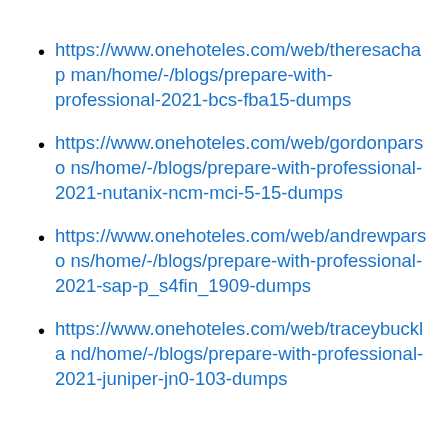https://www.onehoteles.com/web/theresachapman/home/-/blogs/prepare-with-professional-2021-bcs-fba15-dumps
https://www.onehoteles.com/web/gordonparsons/home/-/blogs/prepare-with-professional-2021-nutanix-ncm-mci-5-15-dumps
https://www.onehoteles.com/web/andrewparsons/home/-/blogs/prepare-with-professional-2021-sap-p_s4fin_1909-dumps
https://www.onehoteles.com/web/traceybuckland/home/-/blogs/prepare-with-professional-2021-juniper-jn0-103-dumps